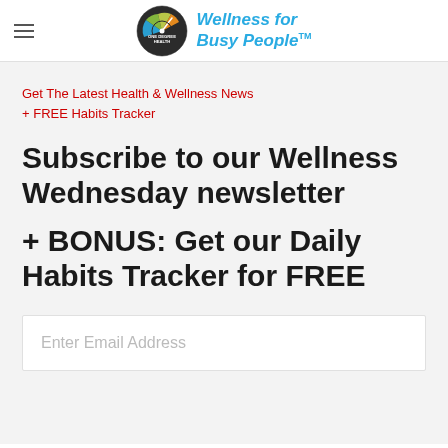[Figure (logo): One Degree Health logo circle with gauge/speedometer graphic and Wellness for Busy People™ brand text in blue italic]
Get The Latest Health & Wellness News + FREE Habits Tracker
Subscribe to our Wellness Wednesday newsletter
+ BONUS: Get our Daily Habits Tracker for FREE
Enter Email Address